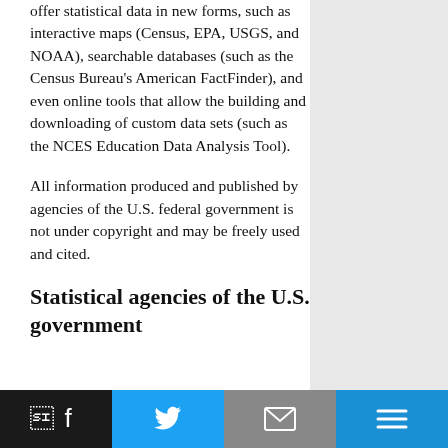offer statistical data in new forms, such as interactive maps (Census, EPA, USGS, and NOAA), searchable databases (such as the Census Bureau's American FactFinder), and even online tools that allow the building and downloading of custom data sets (such as the NCES Education Data Analysis Tool).
All information produced and published by agencies of the U.S. federal government is not under copyright and may be freely used and cited.
Statistical agencies of the U.S. government
Facebook | Twitter | Email | Menu